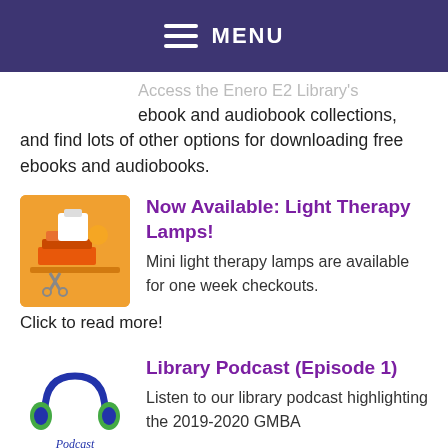MENU
Access the Enero E2 Library's ebook and audiobook collections, and find lots of other options for downloading free ebooks and audiobooks.
[Figure (illustration): Orange illustration showing stacked books, a tissue box, a ball, and scissors on an orange background]
Now Available: Light Therapy Lamps!
Mini light therapy lamps are available for one week checkouts. Click to read more!
[Figure (illustration): Podcast logo showing blue and green headphones with the word Podcast written below in cursive]
Library Podcast (Episode 1)
Listen to our library podcast highlighting the 2019-2020 GMBA